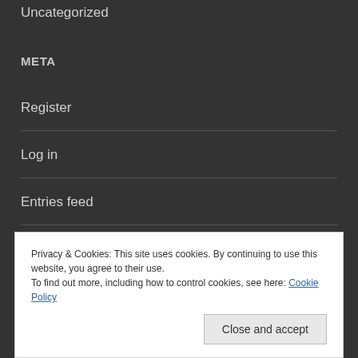Uncategorized
META
Register
Log in
Entries feed
Comments feed
Privacy & Cookies: This site uses cookies. By continuing to use this website, you agree to their use. To find out more, including how to control cookies, see here: Cookie Policy
Close and accept